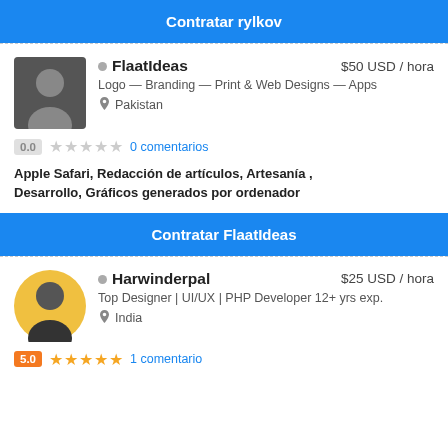Contratar rylkov
FlaatIdeas — $50 USD / hora — Logo – Branding – Print & Web Designs – Apps — Pakistan — 0.0 — 0 comentarios — Apple Safari, Redacción de artículos, Artesanía , Desarrollo, Gráficos generados por ordenador
Contratar FlaatIdeas
Harwinderpal — $25 USD / hora — Top Designer | UI/UX | PHP Developer 12+ yrs exp. — India — 5.0 — 1 comentario